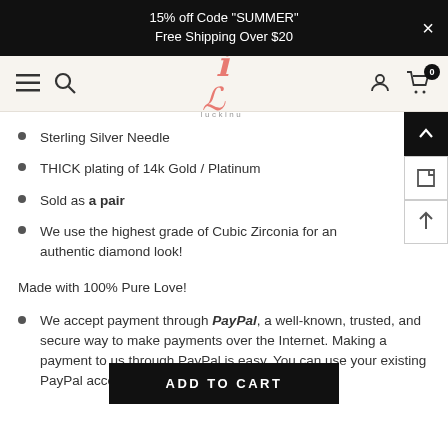15% off Code "SUMMER"
Free Shipping Over $20
[Figure (logo): Luckinu script logo in pink/coral color with 'luckinu' text below]
Sterling Silver Needle
THICK plating of 14k Gold / Platinum
Sold as a pair
We use the highest grade of Cubic Zirconia for an authentic diamond look!
Made with 100% Pure Love!
We accept payment through PayPal, a well-known, trusted, and secure way to make payments over the Internet. Making a payment to us through PayPal is easy. You can use your existing PayPal account